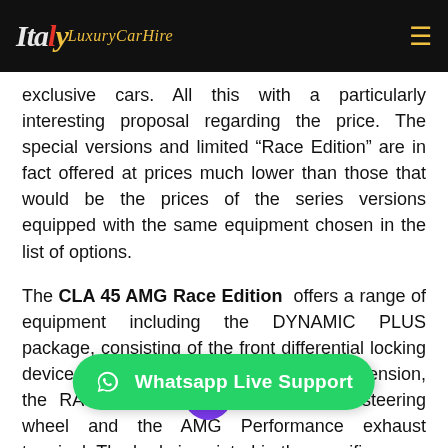Italy Luxury Car Hire
exclusive cars. All this with a particularly interesting proposal regarding the price. The special versions and limited “Race Edition” are in fact offered at prices much lower than those that would be the prices of the series versions equipped with the same equipment chosen in the list of options.
The CLA 45 AMG Race Edition offers a range of equipment including the DYNAMIC PLUS package, consisting of the front differential locking device, the RIDE CONTROL sports suspension, the RACE driving program , and the steering wheel and the AMG Performance exhaust terminal. The body is painted in the specific co... the Poligno Piccano Magno Designo. As for the exterior, the CLA 45 AMG Race Edition is set up with
[Figure (other): Whatsapp Live Support button overlay at bottom of page]